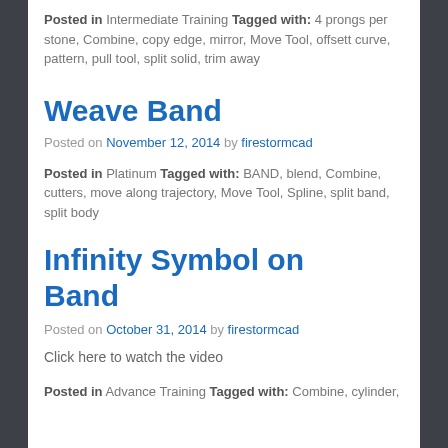Posted in Intermediate Training Tagged with: 4 prongs per stone, Combine, copy edge, mirror, Move Tool, offsett curve, pattern, pull tool, split solid, trim away
Weave Band
Posted on November 12, 2014 by firestormcad
Posted in Platinum Tagged with: BAND, blend, Combine, cutters, move along trajectory, Move Tool, Spline, split band, split body
Infinity Symbol on Band
Posted on October 31, 2014 by firestormcad
Click here to watch the video
Posted in Advance Training Tagged with: Combine, cylinder,